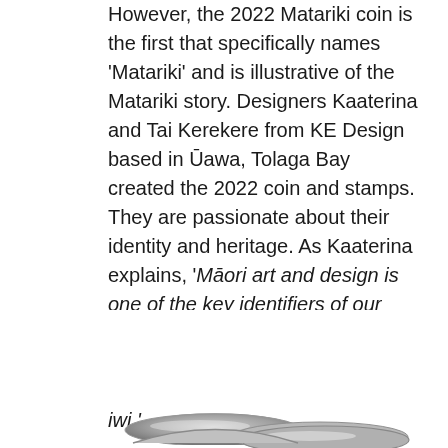However, the 2022 Matariki coin is the first that specifically names 'Matariki' and is illustrative of the Matariki story. Designers Kaaterina and Tai Kerekere from KE Design based in Ūawa, Tolaga Bay created the 2022 coin and stamps. They are passionate about their identity and heritage. As Kaaterina explains, 'Māori art and design is one of the key identifiers of our cultural identity and heritage. The icons, motifs and stories are unique to our whānau, hapū and iwi.'
[Figure (photo): Two partially visible coins showing curved tops, appearing at the bottom of the page]